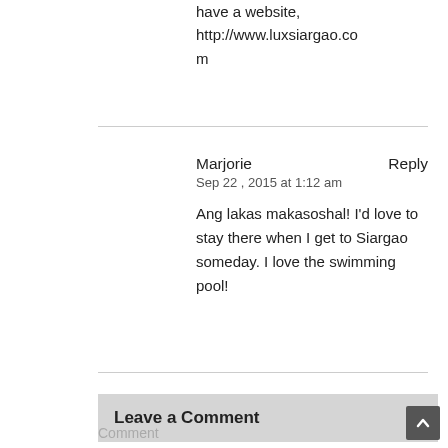have a website, http://www.luxsiargao.com
Marjorie
Sep 22 , 2015 at 1:12 am
Ang lakas makasoshal! I'd love to stay there when I get to Siargao someday. I love the swimming pool!
Leave a Comment
Comment